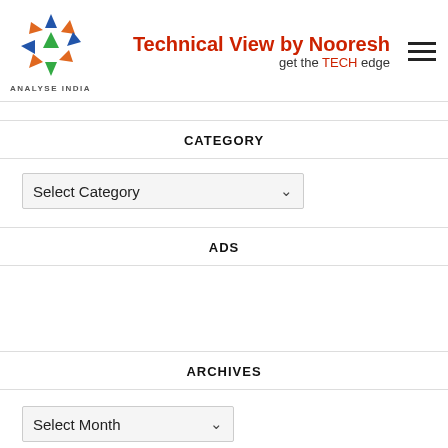[Figure (logo): Analyse India logo — colorful triangles arranged in a star/compass pattern with text 'ANALYSE INDIA' below]
Technical View by Nooresh — get the TECH edge
CATEGORY
Select Category (dropdown)
ADS
ARCHIVES
Select Month (dropdown)